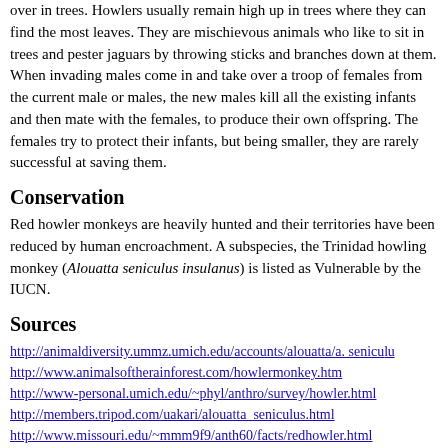over in trees. Howlers usually remain high up in trees where they can find the most leaves. They are mischievous animals who like to sit in trees and pester jaguars by throwing sticks and branches down at them. When invading males come in and take over a troop of females from the current male or males, the new males kill all the existing infants and then mate with the females, to produce their own offspring. The females try to protect their infants, but being smaller, they are rarely successful at saving them.
Conservation
Red howler monkeys are heavily hunted and their territories have been reduced by human encroachment. A subspecies, the Trinidad howling monkey (Alouatta seniculus insulanus) is listed as Vulnerable by the IUCN.
Sources
http://animaldiversity.ummz.umich.edu/accounts/alouatta/a._seniculu
http://www.animalsoftherainforest.com/howlermonkey.htm
http://www-personal.umich.edu/~phyl/anthro/survey/howler.html
http://members.tripod.com/uakari/alouatta_seniculus.html
http://www.missouri.edu/~mmm9f9/anth60/facts/redhowler.html
http://www.ecotoursnariva.com/wildlife2.htm
http://www.iwokrama.org/Wildlife/ROM/mammals/guides/prim1.ht
http://www.chagdev.com/Eng/3/03g.html
Red howler monkey Wildlife Fact File, IM Pub, US